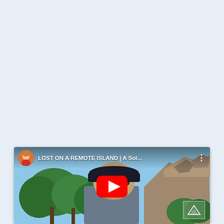[Figure (screenshot): YouTube video thumbnail embedded in a webpage with light blue/grey background. The video shows a man wearing sunglasses and a dark cap outdoors near rocky hills and green trees. Overlay shows a channel avatar (circular photo of person), video title 'LOST ON A REMOTE ISLAND | A Sol...', a three-dot menu icon, and a large YouTube red play button in the center.]